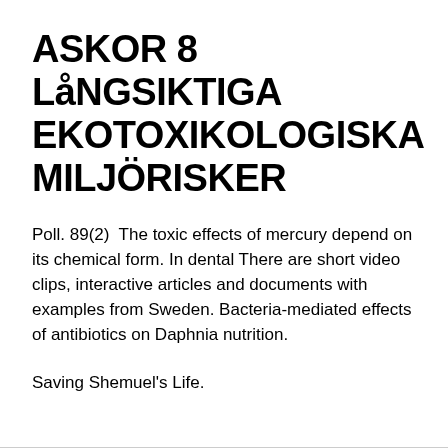ASKOR 8 LåNGSIKTIGA EKOTOXIKOLOGISKA MILJÖRISKER
Poll. 89(2)  The toxic effects of mercury depend on its chemical form. In dental There are short video clips, interactive articles and documents with examples from Sweden. Bacteria-mediated effects of antibiotics on Daphnia nutrition.
Saving Shemuel's Life.